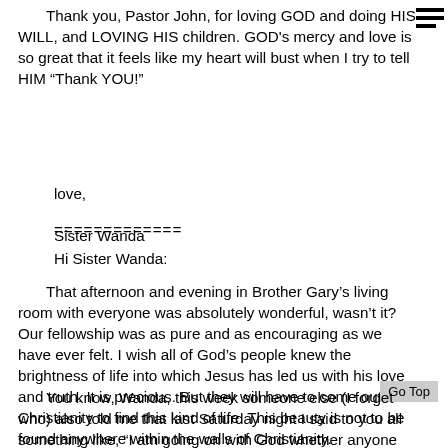Thank you, Pastor John, for loving GOD and doing HIS WILL, and LOVING HIS children. GOD's mercy and love is so great that it feels like my heart will bust when I try to tell HIM “Thank YOU!”
love,
Sister Wanda
=============
Hi Sister Wanda:
That afternoon and evening in Brother Gary’s living room with everyone was absolutely wonderful, wasn’t it? Our fellowship was as pure and as encouraging as we have ever felt. I wish all of God’s people knew the brightness of life into which Jesus has led us with his love and truth. It is precious. But they will have to come out of Christianity to find this kind of life. This beauty is not to be found anywhere within the walls of Christianity.
You know, Wanda, this week someone else (I forget who) also told me that last Saturday night I said to you all something like, “I am going on with God whether anyone